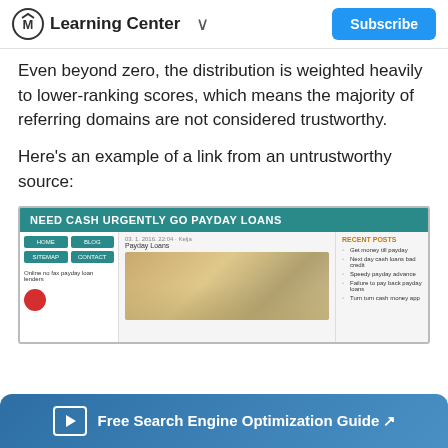Learning Center | Subscribe
Even beyond zero, the distribution is weighted heavily to lower-ranking scores, which means the majority of referring domains are not considered trustworthy.
Here's an example of a link from an untrustworthy source:
[Figure (screenshot): Screenshot of a spammy payday loans website titled 'NEED CASH URGENTLY GO PAYDAY LOANS' with teal navigation, blog post about payday loans with money image, and sidebar with recent posts including 'Get money till payday', 'Next day cash loans bad credit', 'Speedy payday advance', 'Failure to pay back payday loans', 'Turn turn cash money app']
Free Search Engine Optimization Guide ↗